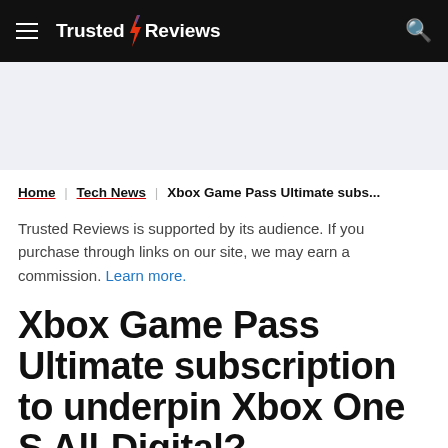Trusted Reviews
Home | Tech News | Xbox Game Pass Ultimate subs...
Trusted Reviews is supported by its audience. If you purchase through links on our site, we may earn a commission. Learn more.
Xbox Game Pass Ultimate subscription to underpin Xbox One S All-Digital?